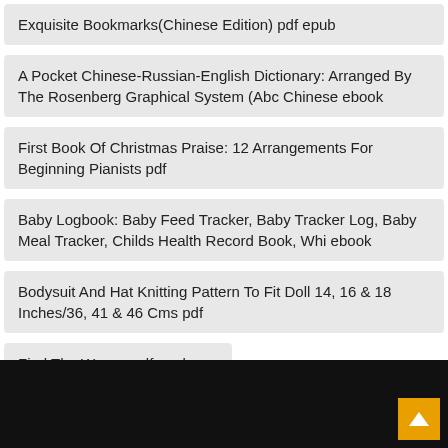Exquisite Bookmarks(Chinese Edition) pdf epub
A Pocket Chinese-Russian-English Dictionary: Arranged By The Rosenberg Graphical System (Abc Chinese ebook
First Book Of Christmas Praise: 12 Arrangements For Beginning Pianists pdf
Baby Logbook: Baby Feed Tracker, Baby Tracker Log, Baby Meal Tracker, Childs Health Record Book, Whi ebook
Bodysuit And Hat Knitting Pattern To Fit Doll 14, 16 & 18 Inches/36, 41 & 46 Cms pdf
Find The Worms pdf epub